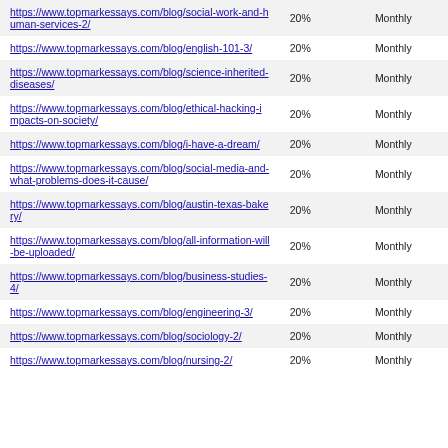| https://www.topmarkessays.com/blog/social-work-and-human-services-2/ | 20% | Monthly |
| https://www.topmarkessays.com/blog/english-101-3/ | 20% | Monthly |
| https://www.topmarkessays.com/blog/science-inherited-diseases/ | 20% | Monthly |
| https://www.topmarkessays.com/blog/ethical-hacking-impacts-on-society/ | 20% | Monthly |
| https://www.topmarkessays.com/blog/i-have-a-dream/ | 20% | Monthly |
| https://www.topmarkessays.com/blog/social-media-and-what-problems-does-it-cause/ | 20% | Monthly |
| https://www.topmarkessays.com/blog/austin-texas-bakery/ | 20% | Monthly |
| https://www.topmarkessays.com/blog/all-information-will-be-uploaded/ | 20% | Monthly |
| https://www.topmarkessays.com/blog/business-studies-4/ | 20% | Monthly |
| https://www.topmarkessays.com/blog/engineering-3/ | 20% | Monthly |
| https://www.topmarkessays.com/blog/sociology-2/ | 20% | Monthly |
| https://www.topmarkessays.com/blog/nursing-2/ | 20% | Monthly |